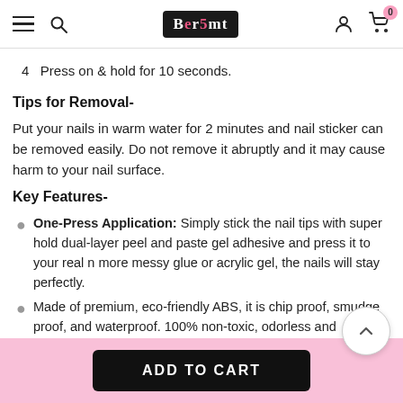Ber5mt navigation header with hamburger menu, search, logo, user icon, cart (0)
4  Press on & hold for 10 seconds.
Tips for Removal-
Put your nails in warm water for 2 minutes and nail sticker can be removed easily. Do not remove it abruptly and it may cause harm to your nail surface.
Key Features-
One-Press Application: Simply stick the nail tips with super hold dual-layer peel and paste gel adhesive and press it to your real n more messy glue or acrylic gel, the nails will stay perfectly.
Made of premium, eco-friendly ABS, it is chip proof, smudge proof, and waterproof. 100% non-toxic, odorless and harmless to your
ADD TO CART